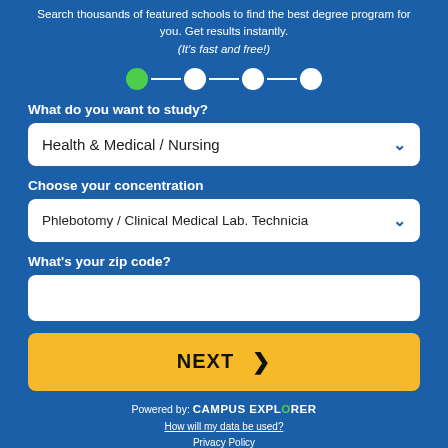Search thousands of featured schools to find the best degree program for you. Get results instantly. (It's fast and free!)
[Figure (infographic): Step progress indicator with 4 circles connected by lines; first circle is green (active), remaining three are white]
What do you want to study?
Health & Medical / Nursing
Choose your concentration
Phlebotomy / Clinical Medical Lab. Technicia
What's your zip code?
NEXT
Powered by: CAMPUS EXPLORER
How will my data be used?
Privacy Policy